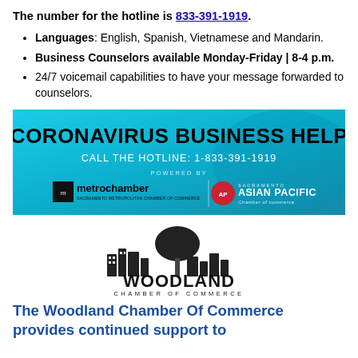The number for the hotline is 833-391-1919.
Languages: English, Spanish, Vietnamese and Mandarin.
Business Counselors available Monday-Friday | 8-4 p.m.
24/7 voicemail capabilities to have your message forwarded to counselors.
[Figure (infographic): Coronavirus Business Help banner. Call the Hotline: 1-833-391-1919. Powered by metro chamber (Sacramento Metropolitan Chamber of Commerce) and Sacramento Asian Pacific Chamber of Commerce.]
[Figure (logo): Woodland Chamber of Commerce logo with building/tree illustration and text 'WOODLAND CHAMBER OF COMMERCE']
The Woodland Chamber Of Commerce provides continued support to